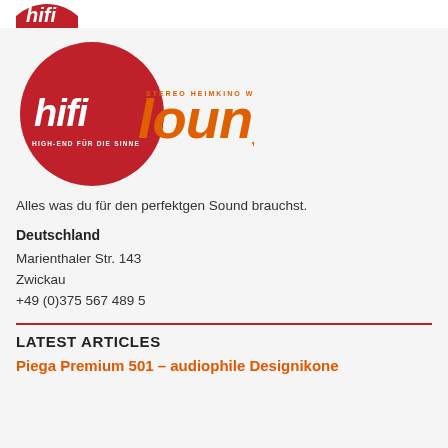[Figure (logo): hifiLounge logo — red circle with 'hifi' in white, 'Lounge' in orange, tagline 'STEREO HEIMKINO WOHNDESIGN' and 'HIGH-END FÜR DIE SINNE']
Alles was du für den perfektgen Sound brauchst.
Deutschland
Marienthaler Str. 143
Zwickau
+49 (0)375 567 489 5
LATEST ARTICLES
Piega Premium 501 – audiophile Designikone